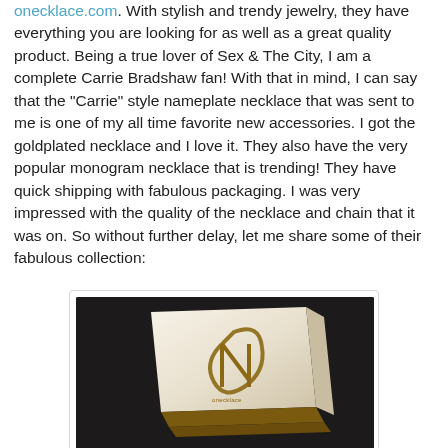onecklace.com. With stylish and trendy jewelry, they have everything you are looking for as well as a great quality product. Being a true lover of Sex & The City, I am a complete Carrie Bradshaw fan! With that in mind, I can say that the "Carrie" style nameplate necklace that was sent to me is one of my all time favorite new accessories. I got the goldplated necklace and I love it. They also have the very popular monogram necklace that is trending! They have quick shipping with fabulous packaging. I was very impressed with the quality of the necklace and chain that it was on. So without further delay, let me share some of their fabulous collection:
[Figure (photo): A white textured jewelry gift box with the oNecklace brand logo (stylized 'N' monogram in gold/brown) on a dark background, showing the box lid and a wood-toned side/base.]